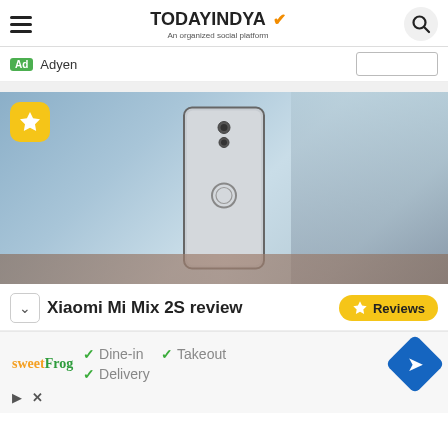TODAYINDYA — An organized social platform
Ad Adyen
[Figure (photo): Back view of a Xiaomi Mi Mix 2S smartphone standing upright on a table, with a blurred indoor background. A yellow star badge is in the top-left corner of the image.]
Xiaomi Mi Mix 2S review
Reviews
✓ Dine-in ✓ Takeout ✓ Delivery